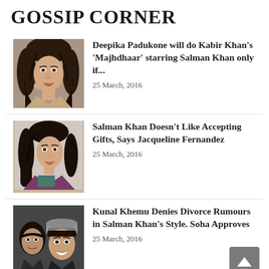GOSSIP CORNER
[Figure (photo): Photo of Deepika Padukone]
Deepika Padukone will do Kabir Khan's 'Majhdhaar' starring Salman Khan only if...
25 March, 2016
[Figure (photo): Photo of Jacqueline Fernandez]
Salman Khan Doesn't Like Accepting Gifts, Says Jacqueline Fernandez
25 March, 2016
[Figure (photo): Photo of Kunal Khemu and Soha Ali Khan]
Kunal Khemu Denies Divorce Rumours in Salman Khan's Style. Soha Approves
25 March, 2016